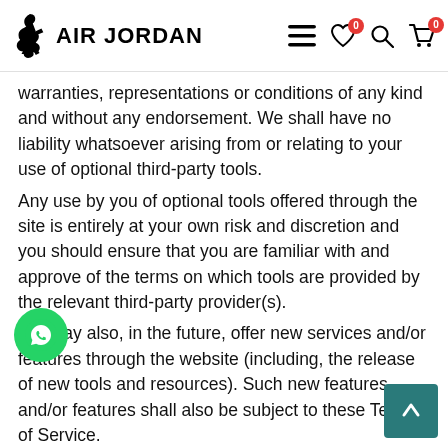AIR JORDAN
warranties, representations or conditions of any kind and without any endorsement. We shall have no liability whatsoever arising from or relating to your use of optional third-party tools.
Any use by you of optional tools offered through the site is entirely at your own risk and discretion and you should ensure that you are familiar with and approve of the terms on which tools are provided by the relevant third-party provider(s).
We may also, in the future, offer new services and/or features through the website (including, the release of new tools and resources). Such new features and/or features shall also be subject to these Terms of Service.
SECTION 8 – THIRD-PARTY LINKS
Certain content, products and services available via our Service may include materials from third-parties.